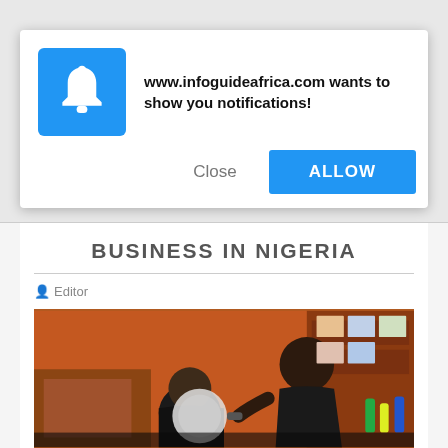[Figure (screenshot): Browser notification permission dialog with blue bell icon and text 'www.infoguideafrica.com wants to show you notifications!', with Close and ALLOW buttons]
BUSINESS IN NIGERIA
Editor
[Figure (photo): Photo of a barber cutting a customer's hair in a barbershop with orange walls]